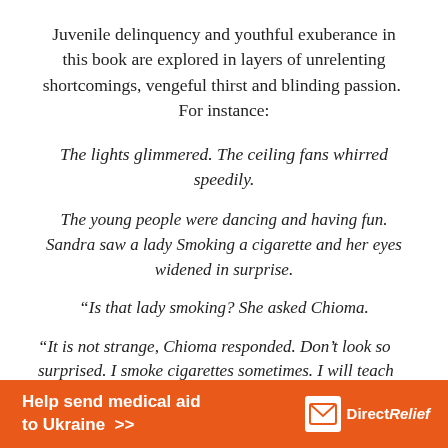Juvenile delinquency and youthful exuberance in this book are explored in layers of unrelenting shortcomings, vengeful thirst and blinding passion.  For instance:
The lights glimmered. The ceiling fans whirred speedily.
The young people were dancing and having fun. Sandra saw a lady Smoking a cigarette and her eyes widened in surprise.
“Is that lady smoking? She asked Chioma.
“It is not strange, Chioma responded. Don’t look so surprised. I smoke cigarettes sometimes. I will teach
[Figure (other): Orange advertisement banner for Direct Relief: 'Help send medical aid to Ukraine >>' with Direct Relief logo (white box icon and text) on the right.]